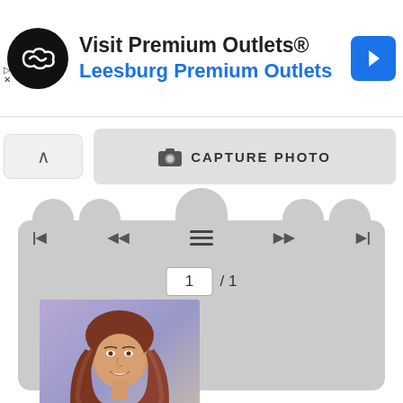[Figure (screenshot): Advertisement banner for Premium Outlets showing logo, text 'Visit Premium Outlets® Leesburg Premium Outlets', and navigation arrow icon]
[Figure (screenshot): UI toolbar with chevron/up button and a 'CAPTURE PHOTO' button with camera icon]
[Figure (screenshot): Media player panel with scalloped top edge, navigation controls (first, prev, menu, next, last), page indicator '1 / 1', and a photo of a woman with long brown hair labeled 'Studio Wish Salon,']